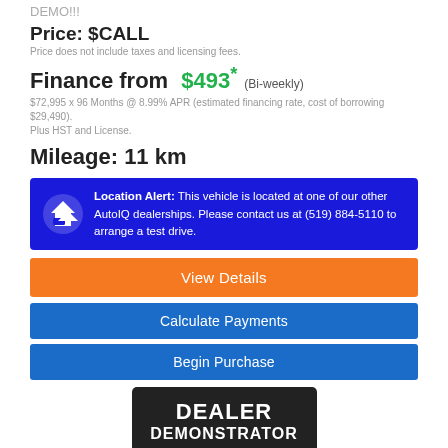DEMO!!!
Price: $CALL
Price does not include taxes and licensing fees.
Finance from $493* (Bi-weekly)
$72,995 x 96 Months @ 8.99% APR (estimated financing rate, cost of borrowing $29,490). Plus HST and License.
Mileage: 11 km
Location Alert: This vehicle is located at one of our other AutoIQ dealerships. Please contact us at (519) 884-5110 to arrange a test drive.
View Details
Calculate Payments
Begin Purchase
[Figure (other): Dealer Demonstrator badge — dark rounded rectangle with white bold text DEALER DEMONSTRATOR]
| Body Style: | Pickup |
| --- | --- |